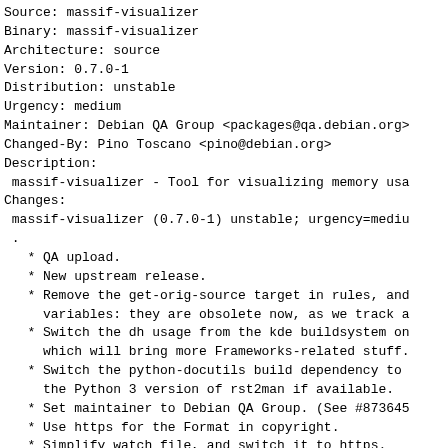Source: massif-visualizer
Binary: massif-visualizer
Architecture: source
Version: 0.7.0-1
Distribution: unstable
Urgency: medium
Maintainer: Debian QA Group <packages@qa.debian.org>
Changed-By: Pino Toscano <pino@debian.org>
Description:
 massif-visualizer - Tool for visualizing memory usa
Changes:
 massif-visualizer (0.7.0-1) unstable; urgency=mediu
 .
   * QA upload.
   * New upstream release.
   * Remove the get-orig-source target in rules, and
     variables: they are obsolete now, as we track a
   * Switch the dh usage from the kde buildsystem on
     which will bring more Frameworks-related stuff.
   * Switch the python-docutils build dependency to
     the Python 3 version of rst2man if available.
   * Set maintainer to Debian QA Group. (See #873645
   * Use https for the Format in copyright.
   * Simplify watch file, and switch it to https.
   * Bump Standards-Version to 4.1.3, no changes req
Checksums-Sha1:
 0d6160dd2c1dfee0ee2ee872ecd20c0dabfa76f5 2240 massi
 7ed66b0a8aa0f8c6232ad203bfe22fd59f3592a1 257380 mas